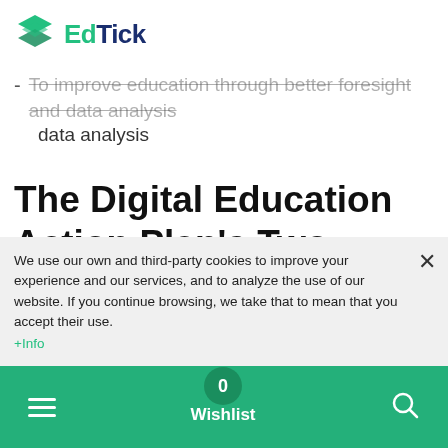EdTick
To encourage the use of digital technology for training and teaching
To improve education through better foresight and data analysis
The Digital Education Action Plan's Two Tactical Priorities
1. Increasing digital transformation
We use our own and third-party cookies to improve your experience and our services, and to analyze the use of our website. If you continue browsing, we take that to mean that you accept their use. +Info